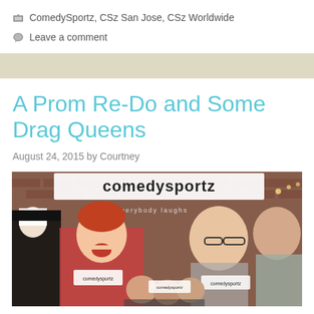ComedySportz, CSz San Jose, CSz Worldwide
Leave a comment
A Prom Re-Do and Some Drag Queens
August 24, 2015 by Courtney
[Figure (photo): Group photo outside ComedySportz venue with brick wall and large comedysportz sign. People holding comedysportz megaphone props, including a child, a nun costume, and several women smiling at camera.]